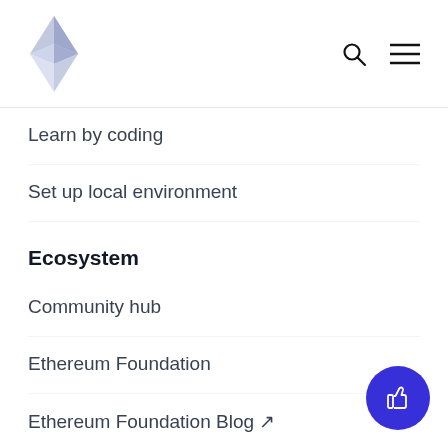Ethereum navigation header with logo, search, and menu icons
Learn by coding
Set up local environment
Ecosystem
Community hub
Ethereum Foundation
Ethereum Foundation Blog ↗
Ecosystem Support Program ↗
Ethereum bug bounty program
Ecosystem Grant Programs